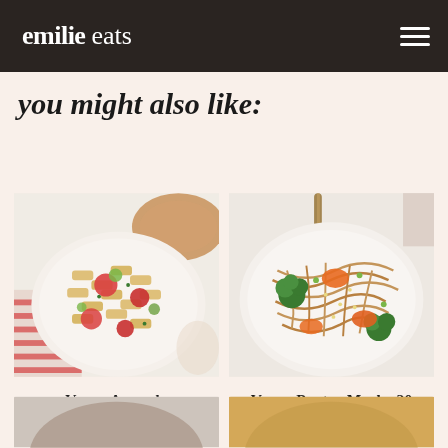emilie eats
you might also like:
[Figure (photo): Bowl of Vegan Avocado Caprese Pasta Salad with rigatoni, tomatoes, and avocado on a white plate with striped cloth]
Vegan Avocado Caprese Pasta Salad
[Figure (photo): Bowl of noodle dish with broccoli, carrots, and sesame seeds - Vegan Pantry Meals]
Vegan Pantry Meals: 20 Recipes
[Figure (photo): Partial view of a dish at the bottom left - cut off]
[Figure (photo): Partial view of a dish at the bottom right - cut off]